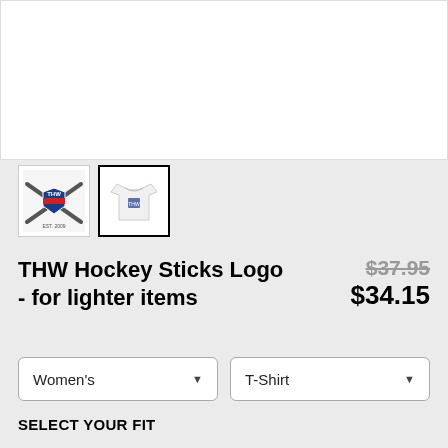[Figure (photo): White background product main image area (top banner, mostly white/blank)]
[Figure (logo): Thumbnail 1: THW Hockey Sticks Logo graphic with crossed sticks and shield badge]
[Figure (photo): Thumbnail 2 (selected): White women's T-shirt with THW logo printed on front]
THW Hockey Sticks Logo - for lighter items
$37.95 $34.15
Women's
T-Shirt
SELECT YOUR FIT